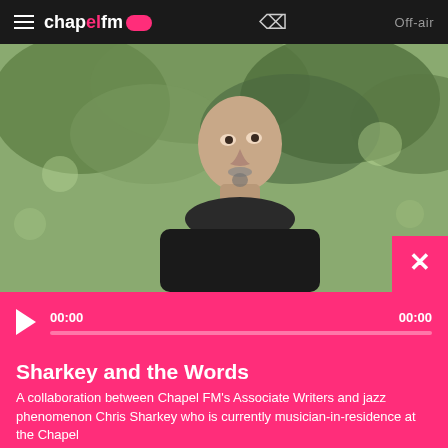chapel fm — Off-air
[Figure (photo): Bald man with goatee in dark jacket looking upward against blurred green tree background]
00:00  00:00
Sharkey and the Words
A collaboration between Chapel FM's Associate Writers and jazz phenomenon Chris Sharkey who is currently musician-in-residence at the Chapel
Share this programme...